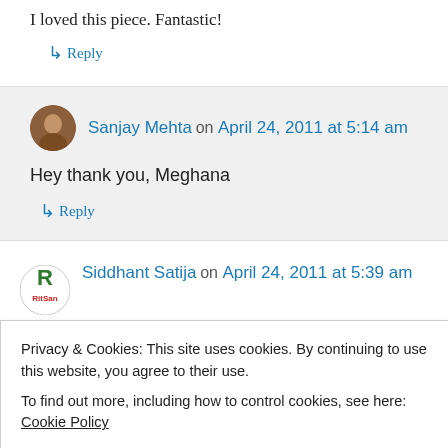I loved this piece. Fantastic!
↳ Reply
Sanjay Mehta on April 24, 2011 at 5:14 am
Hey thank you, Meghana
↳ Reply
Siddhant Satija on April 24, 2011 at 5:39 am
Privacy & Cookies: This site uses cookies. By continuing to use this website, you agree to their use.
To find out more, including how to control cookies, see here: Cookie Policy
Close and accept
Sanjay Mehta on April 24, 2011 at 5:41 am